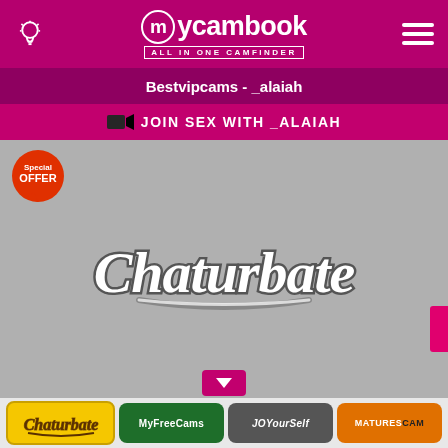mycambook ALL IN ONE CAMFINDER
Bestvipcams - _alaiah
JOIN SEX WITH _ALAIAH
[Figure (screenshot): Gray placeholder image with Chaturbate logo watermark in center and Special Offer badge top-left]
Chaturbate | MyFreeCams | JOYourSelf | MATURESCAM